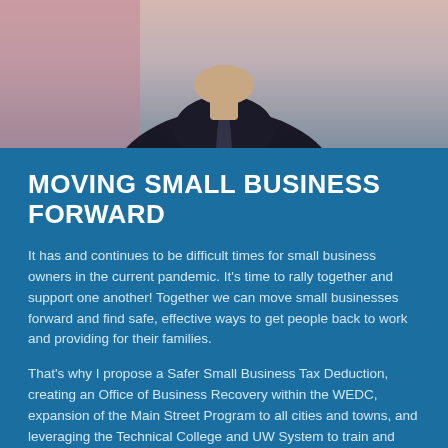[Figure (photo): Partial photo of a person in a dark suit and tie against a light background, cropped to show torso and lower face area]
MOVING SMALL BUSINESS FORWARD
It has and continues to be difficult times for small business owners in the current pandemic. It's time to rally together and support one another! Together we can move small businesses forward and find safe, effective ways to get people back to work and providing for their families.
That's why I propose a Safer Small Business Tax Deduction, creating an Office of Business Recovery within the WEDC, expansion of the Main Street Program to all cities and towns, and leveraging the Technical College and UW System to train and retain